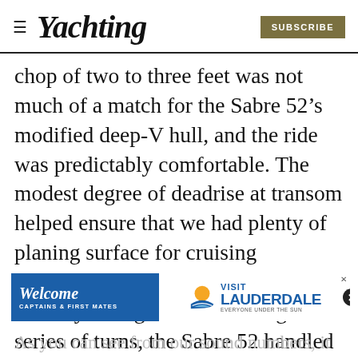≡ Yachting | SUBSCRIBE
chop of two to three feet was not much of a match for the Sabre 52’s modified deep-V hull, and the ride was predictably comfortable. The modest degree of deadrise at transom helped ensure that we had plenty of planing surface for cruising efficiently and excellent form stability for tight turns. Throughout a series of turns, the Sabre 52 handled predictably and evenly, with no bad habits at a
[Figure (infographic): Advertisement banner: Visit Lauderdale - Welcome Captains & First Mates with a sun/water logo and blue background]
As you can see from our sound numbers, it